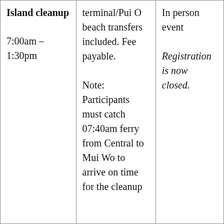| Island cleanup

7:00am – 1:30pm | terminal/Pui O beach transfers included. Fee payable.

Note: Participants must catch 07:40am ferry from Central to Mui Wo to arrive on time for the cleanup | In person event

Registration is now closed. |